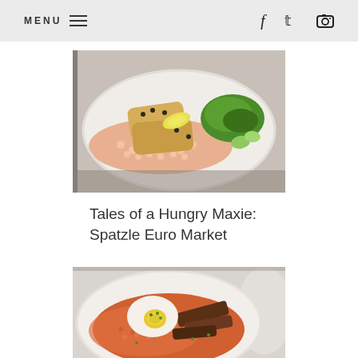MENU ≡  f  𝕥  📷
[Figure (photo): A white plate of food featuring breaded/fried fish fillets topped with capers served on a bed of small white beans, with a lemon wedge and a side green salad with cucumber and carrots.]
Tales of a Hungry Maxie: Spatzle Euro Market
[Figure (photo): A white plate of red/orange grain or pasta (possibly a red grain pilaf or spatzle) topped with sliced grilled meat and a poached egg with olive oil and garnish greens in the center.]